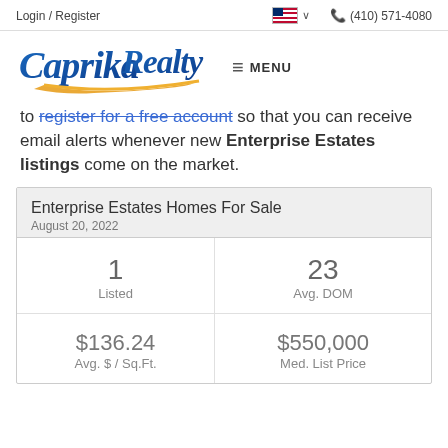Login / Register   (410) 571-4080
[Figure (logo): Caprika Realty logo in blue cursive script with gold/orange swoosh underline]
to register for a free account so that you can receive email alerts whenever new Enterprise Estates listings come on the market.
| Enterprise Estates Homes For Sale | August 20, 2022 |
| --- | --- |
| 1
Listed | 23
Avg. DOM |
| $136.24
Avg. $ / Sq.Ft. | $550,000
Med. List Price |